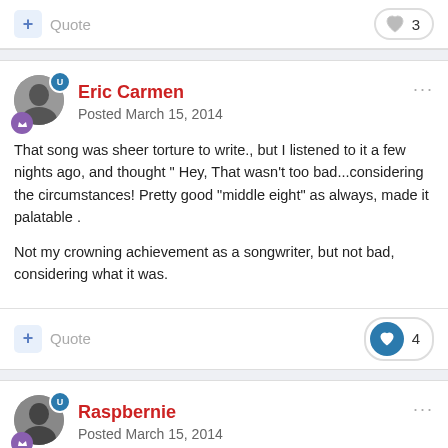Quote  ❤ 3
Eric Carmen
Posted March 15, 2014
That song was sheer torture to write., but I listened to it a few nights ago, and thought " Hey, That wasn't too bad...considering the circumstances! Pretty good "middle eight" as always, made it palatable .

Not my crowning achievement as a songwriter, but not bad, considering what it was.
Quote  ❤ 4
Raspbernie
Posted March 15, 2014